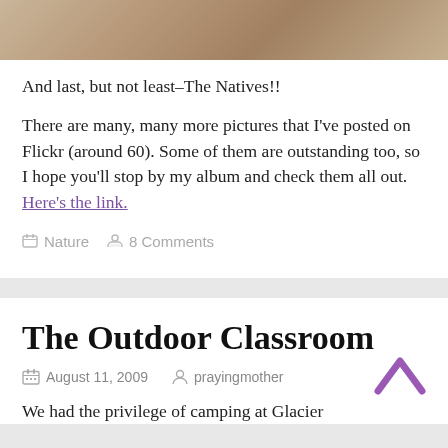[Figure (photo): Rocky/stone textured surface photo at the top of the first blog post card]
And last, but not least–The Natives!!
There are many, many more pictures that I've posted on Flickr (around 60). Some of them are outstanding too, so I hope you'll stop by my album and check them all out. Here's the link.
Nature   8 Comments
The Outdoor Classroom
August 11, 2009   prayingmother
We had the privilege of camping at Glacier